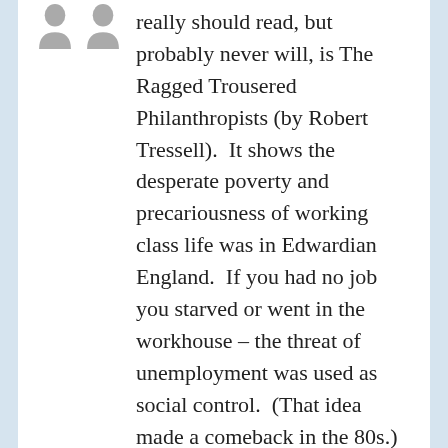[Figure (illustration): Two small grey avatar/person silhouette icons at the top left]
really should read, but probably never will, is The Ragged Trousered Philanthropists (by Robert Tressell).  It shows the desperate poverty and precariousness of working class life was in Edwardian England.  If you had no job you starved or went in the workhouse – the threat of unemployment was used as social control.  (That idea made a comeback in the 80s.)